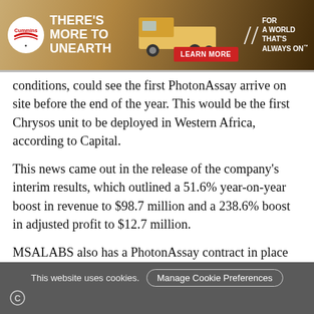[Figure (other): Cummins advertisement banner: 'THERE'S MORE TO UNEARTH' with a mining truck, LEARN MORE button, and tagline 'FOR A WORLD THAT'S ALWAYS ON']
The contract, which remains subject to final terms and conditions, could see the first PhotonAssay arrive on site before the end of the year. This would be the first Chrysos unit to be deployed in Western Africa, according to Capital.
This news came out in the release of the company's interim results, which outlined a 51.6% year-on-year boost in revenue to $98.7 million and a 238.6% boost in adjusted profit to $12.7 million.
MSALABS also has a PhotonAssay contract in place with Barrick Gold at the Bulyanhulu mine in Tanzania, which could see the deployment of at least six PhotonAssay units.
This website uses cookies. Manage Cookie Preferences